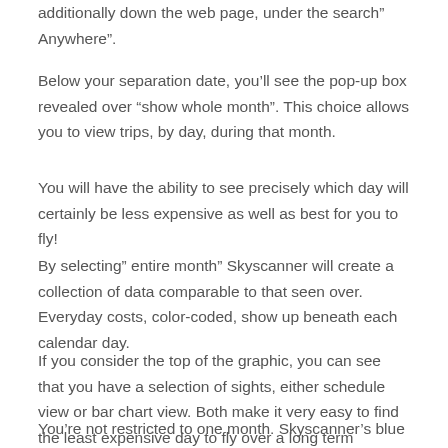additionally down the web page, under the search” Anywhere”.
Below your separation date, you’ll see the pop-up box revealed over “show whole month”. This choice allows you to view trips, by day, during that month.
You will have the ability to see precisely which day will certainly be less expensive as well as best for you to fly!
By selecting” entire month” Skyscanner will create a collection of data comparable to that seen over. Everyday costs, color-coded, show up beneath each calendar day.
If you consider the top of the graphic, you can see that you have a selection of sights, either schedule view or bar chart view. Both make it very easy to find the least expensive day to fly over a long term duration.
You’re not restricted to one month. Skyscanner’s blue arrowhead